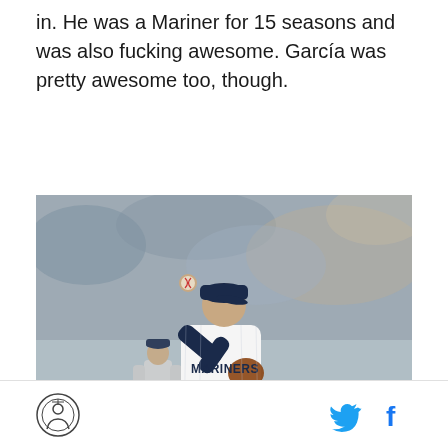in. He was a Mariner for 15 seasons and was also fucking awesome. García was pretty awesome too, though.
[Figure (photo): A Seattle Mariners pitcher in a white uniform mid-delivery on the mound, with a player in a grey away uniform and a crowd in the background.]
Site logo icon | Twitter bird icon | Facebook f icon